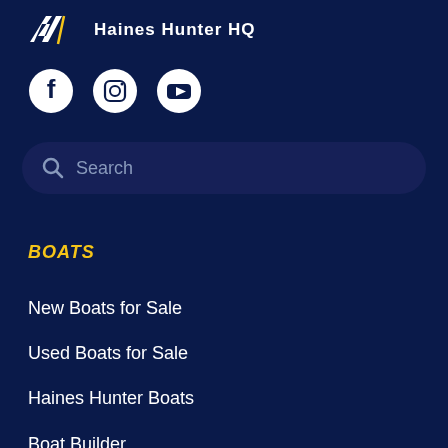[Figure (logo): Haines Hunter HQ logo with stylized H mark and diagonal slash, white text]
[Figure (infographic): Social media icons: Facebook, Instagram, YouTube - white circles on dark navy background]
Search
BOATS
New Boats for Sale
Used Boats for Sale
Haines Hunter Boats
Boat Builder